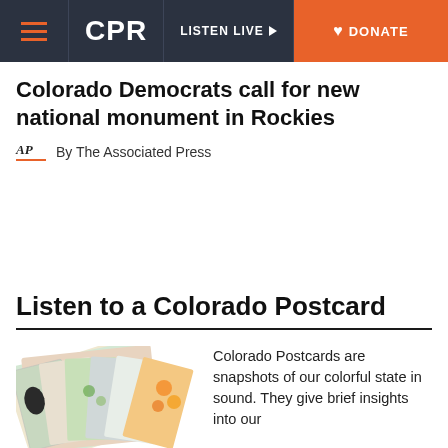CPR | LISTEN LIVE | DONATE
Colorado Democrats call for new national monument in Rockies
By The Associated Press
Listen to a Colorado Postcard
[Figure (photo): A fanned stack of illustrated Colorado postcard images showing various scenes including wildlife, plants, cityscapes, and nature. Label reads POSTCARDS.]
Colorado Postcards are snapshots of our colorful state in sound. They give brief insights into our people and places, our flora and fauna, and our past and